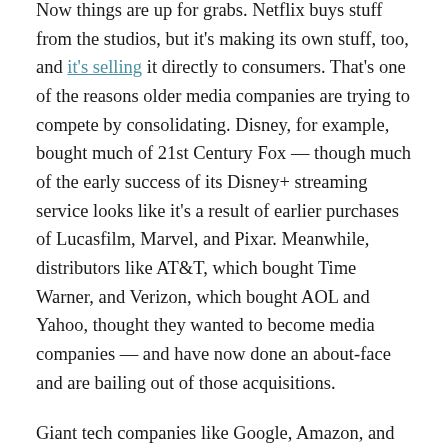Now things are up for grabs. Netflix buys stuff from the studios, but it's making its own stuff, too, and it's selling it directly to consumers. That's one of the reasons older media companies are trying to compete by consolidating. Disney, for example, bought much of 21st Century Fox — though much of the early success of its Disney+ streaming service looks like it's a result of earlier purchases of Lucasfilm, Marvel, and Pixar. Meanwhile, distributors like AT&T, which bought Time Warner, and Verizon, which bought AOL and Yahoo, thought they wanted to become media companies — and have now done an about-face and are bailing out of those acquisitions.
Giant tech companies like Google, Amazon, and Apple that used to be on the sidelines are getting closer and closer to the action — and now Amazon has jumped in with both feet with a plan to buy MGM, the studio that makes James Bond movies and TV shows like Shark Tank. If regulators approve, Amazon will pay...